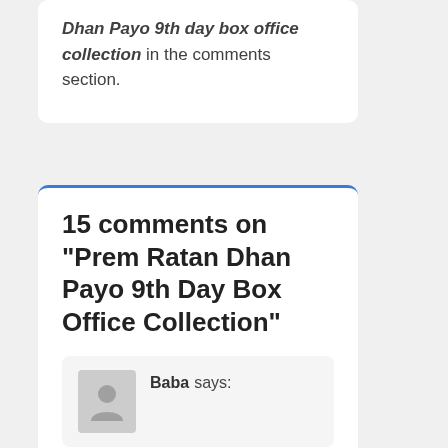Dhan Payo 9th day box office collection in the comments section.
15 comments on "Prem Ratan Dhan Payo 9th Day Box Office Collection"
Baba says: